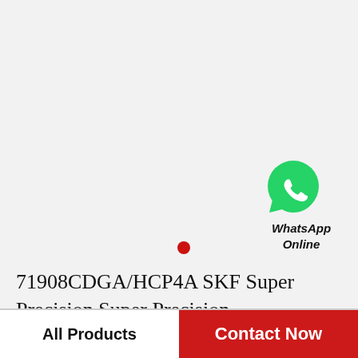[Figure (logo): WhatsApp green circle icon with white phone handset]
WhatsApp Online
[Figure (other): Small red filled circle dot]
71908CDGA/HCP4A SKF Super Precision,Super Precision Bearings,Super Precision Angular…
All Products
Contact Now